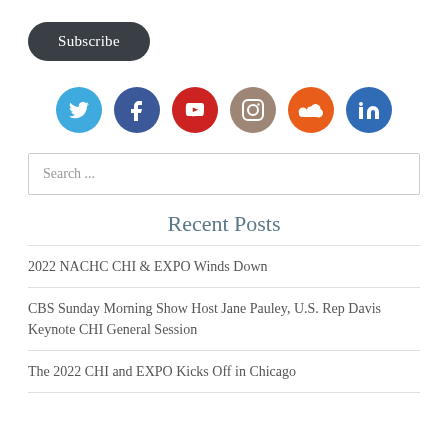Subscribe
[Figure (infographic): Row of six social media icon circles: Twitter (blue bird), Facebook (dark blue f), YouTube (red play button), Instagram (beige camera), SoundCloud (orange cloud), LinkedIn (blue in)]
Search ...
Recent Posts
2022 NACHC CHI & EXPO Winds Down
CBS Sunday Morning Show Host Jane Pauley, U.S. Rep Davis Keynote CHI General Session
The 2022 CHI and EXPO Kicks Off in Chicago